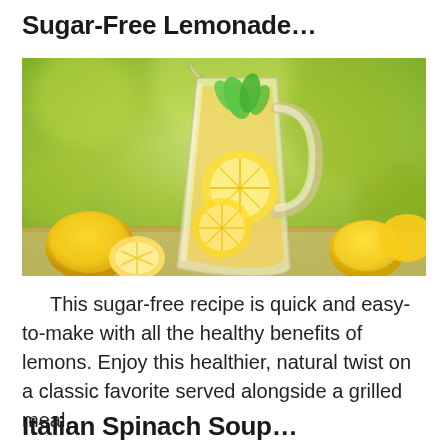Sugar-Free Lemonade…
[Figure (photo): A glass pitcher filled with lemonade, lemon slices, and fresh mint leaves. Multiple whole lemons and a halved lemon are arranged around the base of the pitcher on a wooden surface with a blurred green outdoor background.]
This sugar-free recipe is quick and easy-to-make with all the healthy benefits of lemons. Enjoy this healthier, natural twist on a classic favorite served alongside a grilled meal.
Italian Spinach Soup…